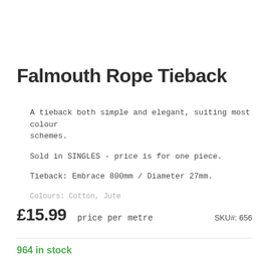Falmouth Rope Tieback
A tieback both simple and elegant, suiting most colour schemes.
Sold in SINGLES - price is for one piece.
Tieback: Embrace 800mm / Diameter 27mm.
Colours: Cotton, Jute
£15.99   price per metre   SKU#:  656
964 in stock